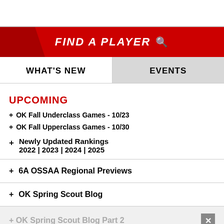[Figure (screenshot): White top bar area]
FIND A PLAYER
WHAT'S NEW
EVENTS
UPCOMING
+ OK Fall Underclass Games - 10/23
+ OK Fall Upperclass Games - 10/30
+ Newly Updated Rankings 2022 | 2023 | 2024 | 2025
+ 6A OSSAA Regional Previews
+ OK Spring Scout Blog
+ OK Spring Scout Blog Part 2
+ Create a Free Profile